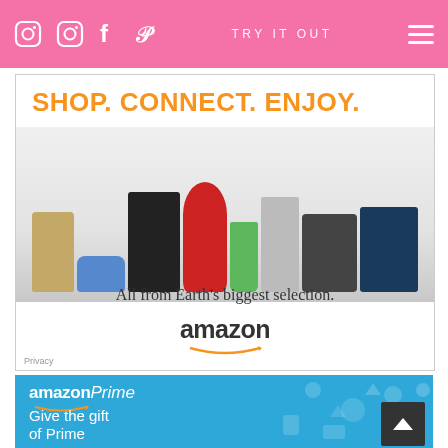TRY IT OUT
[Figure (photo): Amazon advertisement: SHOP. CONNECT. ENJOY. showing products (bag, shoes, PS4, KitchenAid, books, tablet, movie DVD) with text 'All from Earth's biggest selection.' and Amazon logo with smile. Privacy label in corner.]
[Figure (photo): Amazon Prime advertisement on blue background with white decorative icons. Text: amazonPrime with smile logo and 'Give the gift of Prime']